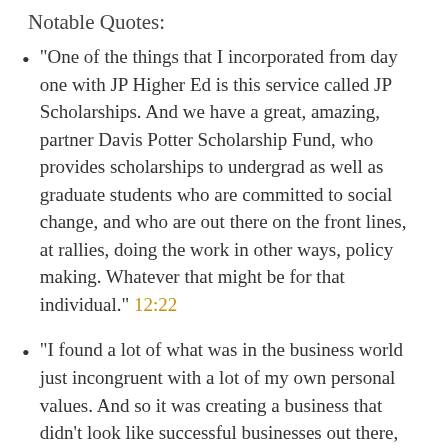Notable Quotes:
“One of the things that I incorporated from day one with JP Higher Ed is this service called JP Scholarships. And we have a great, amazing, partner Davis Potter Scholarship Fund, who provides scholarships to undergrad as well as graduate students who are committed to social change, and who are out there on the front lines, at rallies, doing the work in other ways, policy making. Whatever that might be for that individual.” 12:22
“I found a lot of what was in the business world just incongruent with a lot of my own personal values. And so it was creating a business that didn’t look like successful businesses out there, but a business that represented what my values were and my principles, and what I thought was important.” 15:17